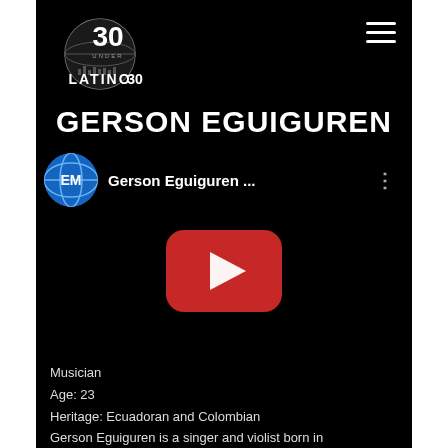[Figure (logo): Latino 30 Under 30 logo — circular globe graphic with '30 UNDER 30' and 'LATINO' text in white on black background]
GERSON EGUIGUREN
[Figure (screenshot): YouTube embedded video player showing channel icon (EM globe logo), channel name 'Gerson Eguiguren ...', three-dot menu, and a red YouTube play button on a dark/black video thumbnail]
Musician
Age: 23
Heritage: Ecuadoran and Colombian
Gerson Eguiguren is a singer and violist born in